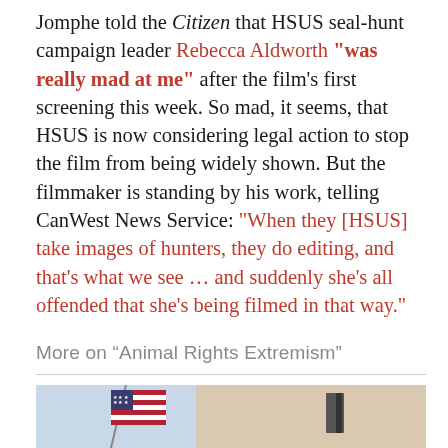Jomphe told the Citizen that HSUS seal-hunt campaign leader Rebecca Aldworth "was really mad at me" after the film's first screening this week. So mad, it seems, that HSUS is now considering legal action to stop the film from being widely shown. But the filmmaker is standing by his work, telling CanWest News Service: "When they [HSUS] take images of hunters, they do editing, and that's what we see … and suddenly she's all offended that she's being filmed in that way."
More on “Animal Rights Extremism”
[Figure (photo): Partial view of a building facade with an American flag in the foreground against a light blue sky.]